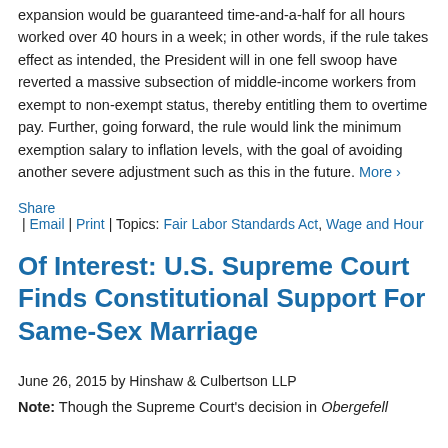expansion would be guaranteed time-and-a-half for all hours worked over 40 hours in a week; in other words, if the rule takes effect as intended, the President will in one fell swoop have reverted a massive subsection of middle-income workers from exempt to non-exempt status, thereby entitling them to overtime pay. Further, going forward, the rule would link the minimum exemption salary to inflation levels, with the goal of avoiding another severe adjustment such as this in the future. More ›
Share | Email | Print | Topics: Fair Labor Standards Act, Wage and Hour
Of Interest: U.S. Supreme Court Finds Constitutional Support For Same-Sex Marriage
June 26, 2015 by Hinshaw & Culbertson LLP
Note: Though the Supreme Court's decision in Obergefell